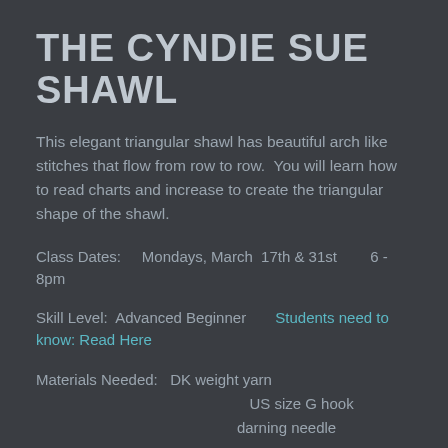THE CYNDIE SUE SHAWL
This elegant triangular shawl has beautiful arch like stitches that flow from row to row.  You will learn how to read charts and increase to create the triangular shape of the shawl.
Class Dates:    Mondays, March  17th & 31st        6 - 8pm
Skill Level:  Advanced Beginner      Students need to know: Read Here
Materials Needed:   DK weight yarn
                    US size G hook
                    darning needle
Instructor:  Sarah Lilienthal        Class Fee:  $28